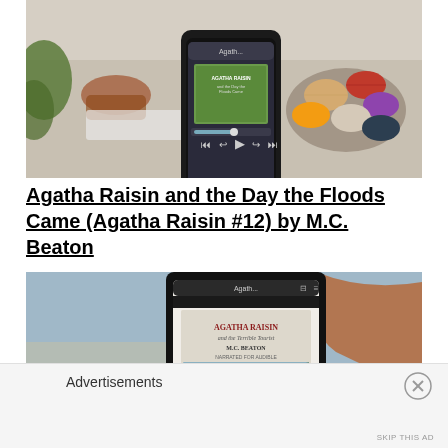[Figure (photo): A smartphone displaying an audiobook app with an Agatha Raisin book cover, placed next to a bowl of colorful French macarons on a table with green leaves in the background.]
Agatha Raisin and the Day the Floods Came (Agatha Raisin #12) by M.C. Beaton
[Figure (photo): A smartphone showing the cover of 'Agatha Raisin and the Terrible Tourist by M.C. Beaton' audiobook, against a blurred outdoor background with rust/orange tones.]
Advertisements